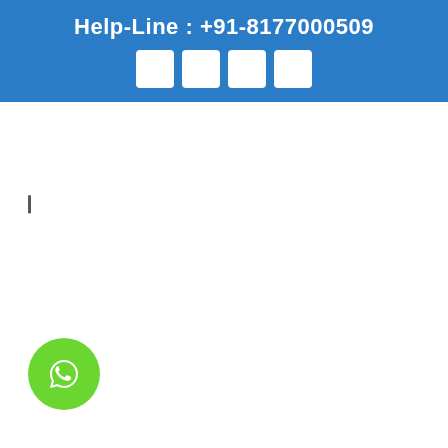Help-Line : +91-8177000509
[Figure (infographic): Four white square social media icon buttons on blue background]
❙
[Figure (illustration): Green circular WhatsApp button with white chat bubble icon]